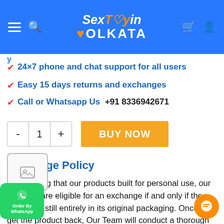SexToyinKolkata — website header with navigation icons, logo, cart and user icons
✔ 24×7 phone and chat support for all users
✔ Easy 15 days returns and exchanges
✔ Call or Whatsapp Us  +91 8336942671
- 1 + BUY NOW (quantity selector and buy now button)
Exchange Policy
Considering that our products built for personal use, our products are eligible for an exchange if and only if the product is still entirely in its original packaging. Once we get the product back, Our Team will conduct a thorough check of the product before refunding your money, only because we want to make sure that this product reaches a new potential